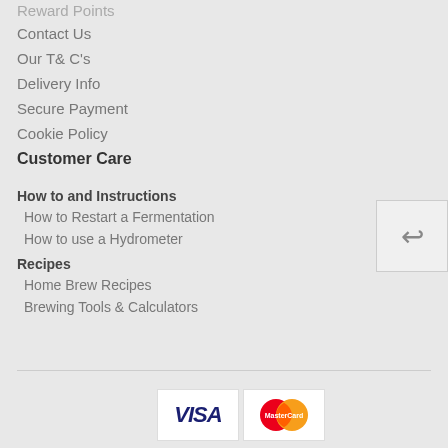Reward Points
Contact Us
Our T& C's
Delivery Info
Secure Payment
Cookie Policy
Customer Care
How to and Instructions
How to Restart a Fermentation
How to use a Hydrometer
Recipes
Home Brew Recipes
Brewing Tools & Calculators
[Figure (logo): Visa and MasterCard payment icons]
© The Home Brew Shop. All Rights Reserved